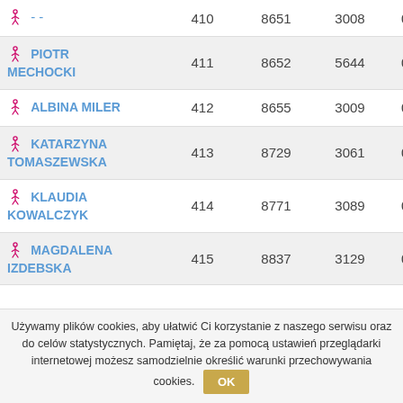| Name | Place | Bib | Category Place | Time |
| --- | --- | --- | --- | --- |
| --  | 410 | 8651 | 3008 | 01:16:0 |
| PIOTR MECHOCKI | 411 | 8652 | 5644 | 01:16:0 |
| ALBINA MILER | 412 | 8655 | 3009 | 01:16:1 |
| KATARZYNA TOMASZEWSKA | 413 | 8729 | 3061 | 01:18:2 |
| KLAUDIA KOWALCZYK | 414 | 8771 | 3089 | 01:20:0 |
| MAGDALENA IZDEBSKA | 415 | 8837 | 3129 | 01:24:2 |
Używamy plików cookies, aby ułatwić Ci korzystanie z naszego serwisu oraz do celów statystycznych. Pamiętaj, że za pomocą ustawień przeglądarki internetowej możesz samodzielnie określić warunki przechowywania cookies.